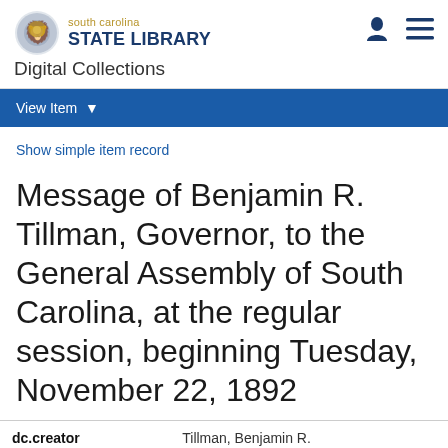south carolina STATE LIBRARY Digital Collections
View Item
Show simple item record
Message of Benjamin R. Tillman, Governor, to the General Assembly of South Carolina, at the regular session, beginning Tuesday, November 22, 1892
| dc.creator | Tillman, Benjamin R. |
| --- | --- |
| dc.creator | Tillman, Benjamin R. |